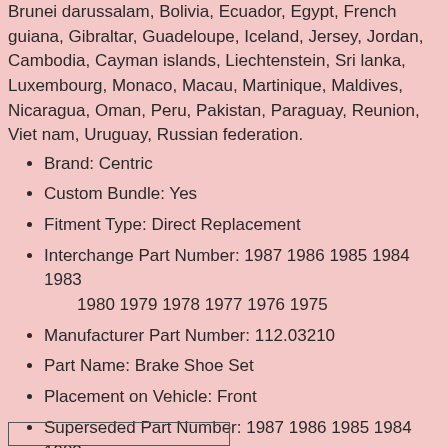Brunei darussalam, Bolivia, Ecuador, Egypt, French guiana, Gibraltar, Guadeloupe, Iceland, Jersey, Jordan, Cambodia, Cayman islands, Liechtenstein, Sri lanka, Luxembourg, Monaco, Macau, Martinique, Maldives, Nicaragua, Oman, Peru, Pakistan, Paraguay, Reunion, Viet nam, Uruguay, Russian federation.
Brand: Centric
Custom Bundle: Yes
Fitment Type: Direct Replacement
Interchange Part Number: 1987 1986 1985 1984 1983 1980 1979 1978 1977 1976 1975
Manufacturer Part Number: 112.03210
Part Name: Brake Shoe Set
Placement on Vehicle: Front
Superseded Part Number: 1987 1986 1985 1984 1983 1980 1979 1978 1977 1976 1975
UPC: 805890230724
Warranty: 90 Day